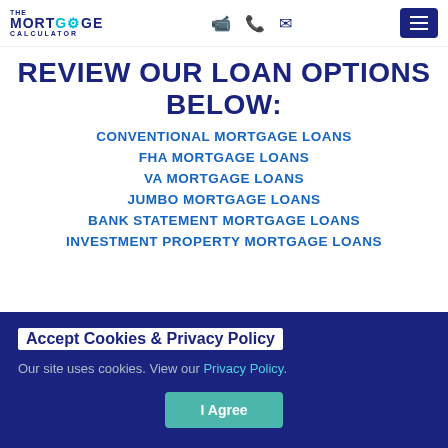THE MORTGAGE CALCULATOR
REVIEW OUR LOAN OPTIONS BELOW:
CONVENTIONAL MORTGAGE LOANS
FHA MORTGAGE LOANS
VA MORTGAGE LOANS
JUMBO MORTGAGE LOANS
BANK STATEMENT MORTGAGE LOANS
INVESTMENT PROPERTY MORTGAGE LOANS
Accept Cookies & Privacy Policy
Our site uses cookies. View our Privacy Policy.
I Agree